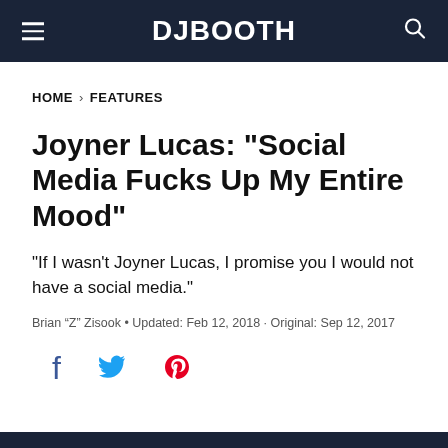DJBOOTH
HOME > FEATURES
Joyner Lucas: "Social Media Fucks Up My Entire Mood"
"If I wasn't Joyner Lucas, I promise you I would not have a social media."
Brian “Z” Zisook • Updated: Feb 12, 2018 · Original: Sep 12, 2017
[Figure (other): Social media sharing icons: Facebook (f), Twitter (bird), Pinterest (P)]